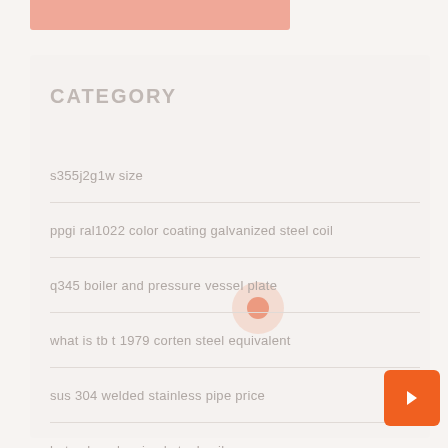[Figure (other): Salmon/peach colored top banner bar]
CATEGORY
s355j2g1w size
ppgi ral1022 color coating galvanized steel coil
q345 boiler and pressure vessel plate
what is tb t 1979 corten steel equivalent
sus 304 welded stainless pipe price
hot sale galvanized steel coil